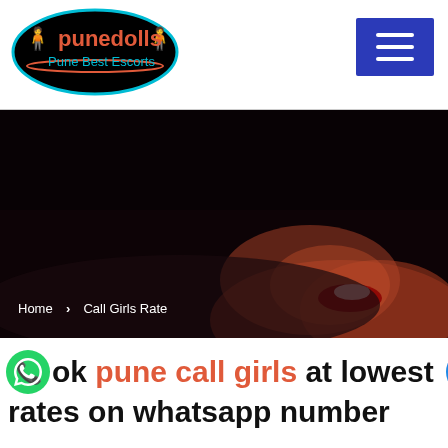[Figure (logo): Punedolls Pune Best Escorts logo — teal oval with orange text 'punedolls' and figures]
[Figure (other): Hamburger/menu button — blue rectangle with three white horizontal lines]
[Figure (photo): Dark hero banner image showing a woman with red lips smiling, mostly dark background]
Home > Call Girls Rate
ook pune call girls at lowest rates on whatsapp number